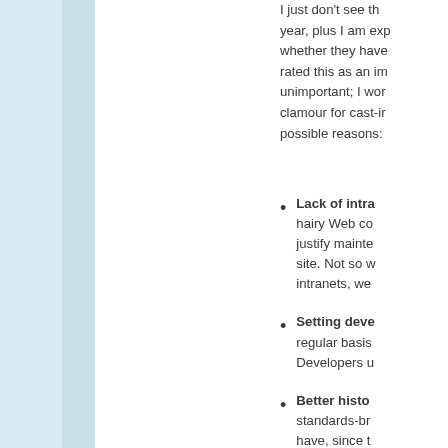I just don't see the year, plus I am exp whether they have rated this as an im unimportant; I wor clamour for cast-ir possible reasons:
Lack of intra hairy Web co justify mainte site. Not so w intranets, we
Setting deve regular basis Developers u
Better histo standards-br have, since t more standa
What's remarkable and including ou